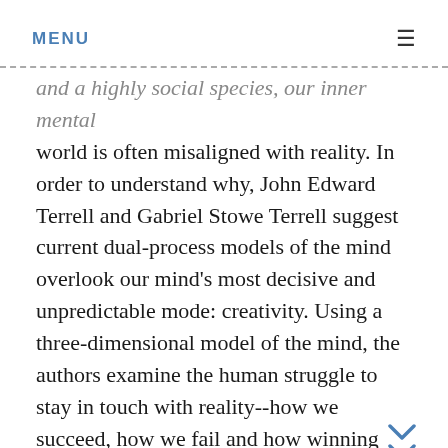MENU
and a highly social species, our inner mental world is often misaligned with reality. In order to understand why, John Edward Terrell and Gabriel Stowe Terrell suggest current dual-process models of the mind overlook our mind's most decisive and unpredictable mode: creativity. Using a three-dimensional model of the mind, the authors examine the human struggle to stay in touch with reality--how we succeed, how we fail and how winning this struggle is key to our survival in an age of mounting social problems of our own making. Using news